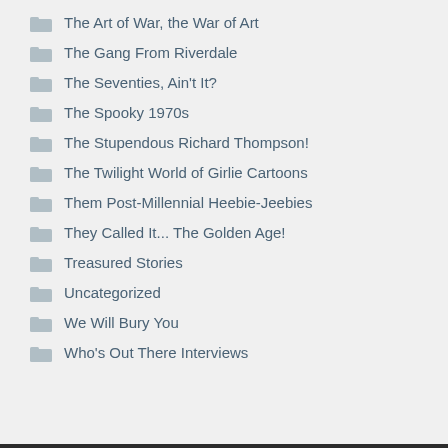The Art of War, the War of Art
The Gang From Riverdale
The Seventies, Ain't It?
The Spooky 1970s
The Stupendous Richard Thompson!
The Twilight World of Girlie Cartoons
Them Post-Millennial Heebie-Jeebies
They Called It... The Golden Age!
Treasured Stories
Uncategorized
We Will Bury You
Who's Out There Interviews